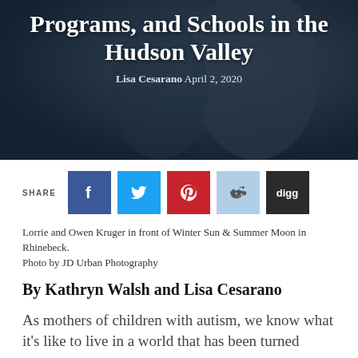[Figure (photo): Hero image with dark overlay showing two people embracing, with decorative items in background. Title text overlaid: 'Programs, and Schools in the Hudson Valley'. Byline: 'Lisa Cesarano April 2, 2020'.]
Programs, and Schools in the Hudson Valley
Lisa Cesarano April 2, 2020
SHARE
Lorrie and Owen Kruger in front of Winter Sun & Summer Moon in Rhinebeck.
Photo by JD Urban Photography
By Kathryn Walsh and Lisa Cesarano
As mothers of children with autism, we know what it's like to live in a world that has been turned